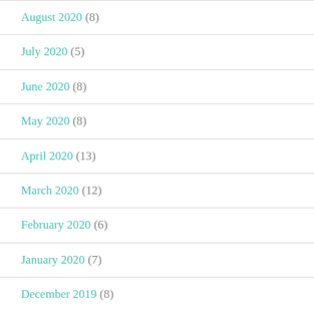August 2020 (8)
July 2020 (5)
June 2020 (8)
May 2020 (8)
April 2020 (13)
March 2020 (12)
February 2020 (6)
January 2020 (7)
December 2019 (8)